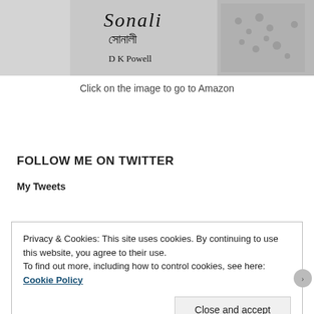[Figure (illustration): Book cover image showing title 'Sonali' in English script and Bengali script (সোনালী), with author name 'D K Powell'. A figure in a patterned sari is visible on the right side of the cover against a light background.]
Click on the image to go to Amazon
FOLLOW ME ON TWITTER
My Tweets
Privacy & Cookies: This site uses cookies. By continuing to use this website, you agree to their use.
To find out more, including how to control cookies, see here: Cookie Policy
Close and accept